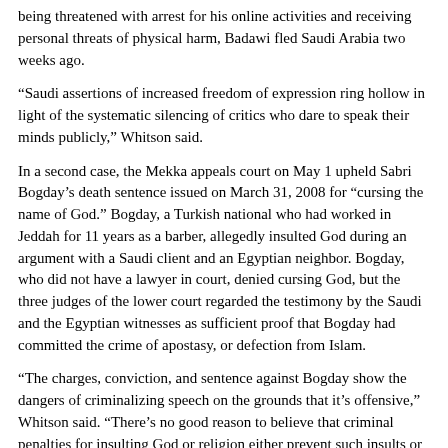being threatened with arrest for his online activities and receiving personal threats of physical harm, Badawi fled Saudi Arabia two weeks ago.
“Saudi assertions of increased freedom of expression ring hollow in light of the systematic silencing of critics who dare to speak their minds publicly,” Whitson said.
In a second case, the Mekka appeals court on May 1 upheld Sabri Bogday’s death sentence issued on March 31, 2008 for “cursing the name of God.” Bogday, a Turkish national who had worked in Jeddah for 11 years as a barber, allegedly insulted God during an argument with a Saudi client and an Egyptian neighbor. Bogday, who did not have a lawyer in court, denied cursing God, but the three judges of the lower court regarded the testimony by the Saudi and the Egyptian witnesses as sufficient proof that Bogday had committed the crime of apostasy, or defection from Islam.
“The charges, conviction, and sentence against Bogday show the dangers of criminalizing speech on the grounds that it’s offensive,” Whitson said. “There’s no good reason to believe that criminal penalties for insulting God or religion either prevent such insults or restore the alleged damage done to the reputation of religion or God.”
Although the existence of blasphemy laws make some forms of insult to religion an offence, human rights bodies have called for their abolition, and as a minimum that they be narrowly defined so they are compatible with international human rights law on free speech. “Cursing God” does not meet this test and should not be a criminal offence, Human Rights Watch said.